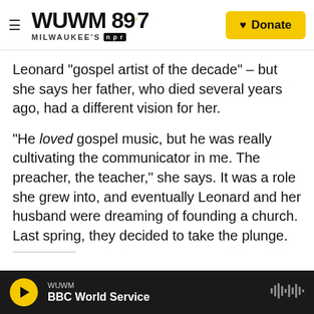WUWM 89.7 Milwaukee's NPR — Donate
Leonard "gospel artist of the decade" – but she says her father, who died several years ago, had a different vision for her.
"He loved gospel music, but he was really cultivating the communicator in me. The preacher, the teacher," she says. It was a role she grew into, and eventually Leonard and her husband were dreaming of founding a church. Last spring, they decided to take the plunge.
WUWM — BBC World Service